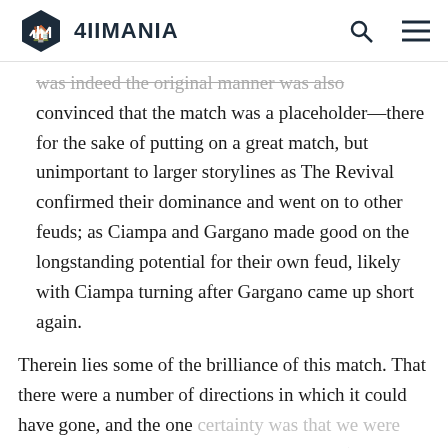4IIMANIA
was indeed the original manner was also convinced that the match was a placeholder—there for the sake of putting on a great match, but unimportant to larger storylines as The Revival confirmed their dominance and went on to other feuds; as Ciampa and Gargano made good on the longstanding potential for their own feud, likely with Ciampa turning after Gargano came up short again.
Therein lies some of the brilliance of this match. That there were a number of directions in which it could have gone, and the one certainty was that we were seeing a truly outstanding traditional team (The Revival)